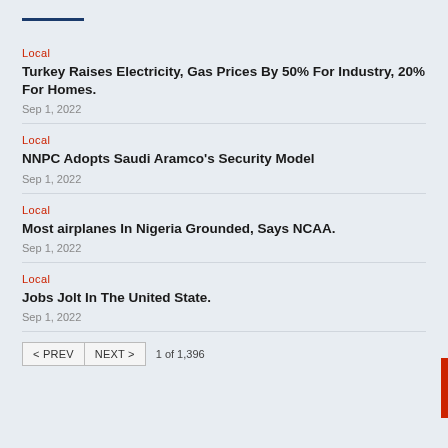Local | Turkey Raises Electricity, Gas Prices By 50% For Industry, 20% For Homes. | Sep 1, 2022
Local | NNPC Adopts Saudi Aramco's Security Model | Sep 1, 2022
Local | Most airplanes In Nigeria Grounded, Says NCAA. | Sep 1, 2022
Local | Jobs Jolt In The United State. | Sep 1, 2022
< PREV   NEXT >   1 of 1,396